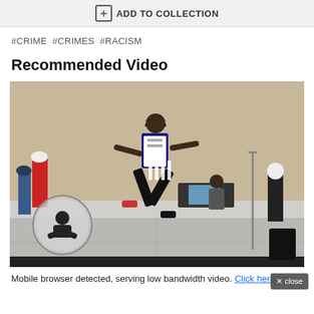ADD TO COLLECTION
#CRIME #CRIMES #RACISM
Recommended Video
[Figure (photo): Person jumping/dancing on a stage at an indoor event. Several other people visible in the background including someone at a DJ table with a laptop. A circular logo with a crouching figure is visible on the left side of the stage.]
Mobile browser detected, serving low bandwidth video. Click here for